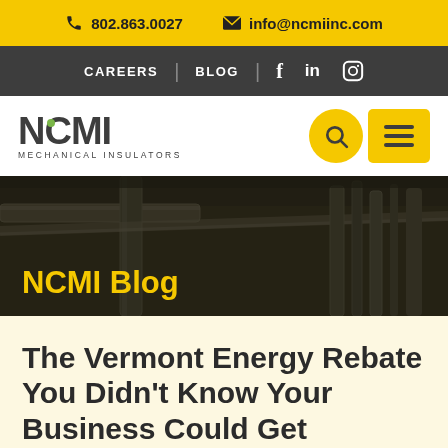802.863.0027  info@ncmiinc.com
CAREERS | BLOG
[Figure (logo): NCMI Mechanical Insulators logo with search and menu buttons]
[Figure (photo): Industrial pipes and ductwork background image for NCMI Blog banner]
NCMI Blog
The Vermont Energy Rebate You Didn't Know Your Business Could Get